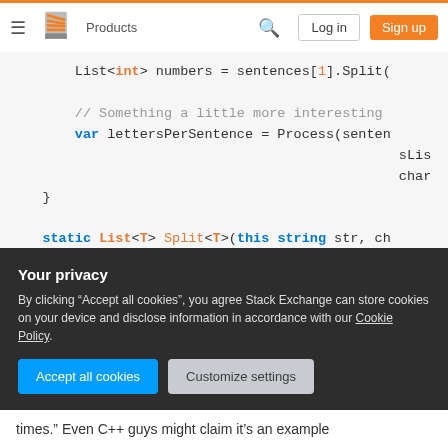Stack Overflow navigation bar with hamburger menu, logo, Products link, search icon, Log in and Sign up buttons
[Figure (screenshot): Code snippet showing C# syntax with List<int>, Split, Process methods with orange and blue keyword coloring on grey background]
Your privacy
By clicking "Accept all cookies", you agree Stack Exchange can store cookies on your device and disclose information in accordance with our Cookie Policy.
times." Even C++ guys might claim it's an example